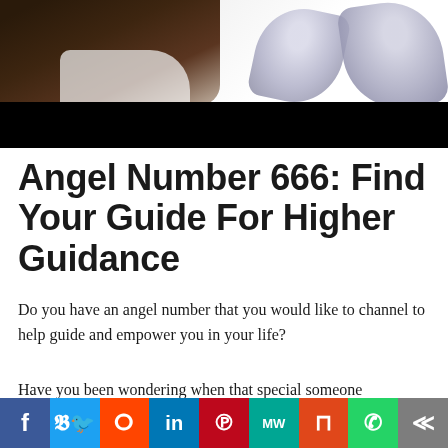[Figure (photo): A person with braided hair wearing white, with decorative angel wings visible in the upper right corner. A black bar overlays the lower portion of the image.]
Angel Number 666: Find Your Guide For Higher Guidance
Do you have an angel number that you would like to channel to help guide and empower you in your life?
Have you been wondering when that special someone
[Figure (other): Social media sharing bar with icons for Facebook, Twitter, Reddit, LinkedIn, Pinterest, MeWe, Mix, WhatsApp, and Share]